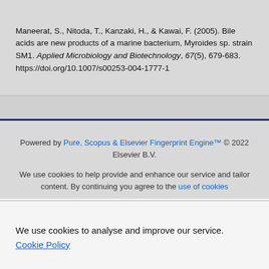Maneerat, S., Nitoda, T., Kanzaki, H., & Kawai, F. (2005). Bile acids are new products of a marine bacterium, Myroides sp. strain SM1. Applied Microbiology and Biotechnology, 67(5), 679-683. https://doi.org/10.1007/s00253-004-1777-1
Powered by Pure, Scopus & Elsevier Fingerprint Engine™ © 2022 Elsevier B.V.
We use cookies to help provide and enhance our service and tailor content. By continuing you agree to the use of cookies
We use cookies to analyse and improve our service. Cookie Policy